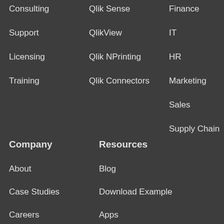Consulting
Support
Licensing
Training
Qlik Sense
QlikView
Qlik NPrinting
Qlik Connectors
Finance
IT
HR
Marketing
Sales
Supply Chain
Company
Resources
About
Case Studies
Careers
Blog
Download Example
Apps
Qlik Developer's Toolbox